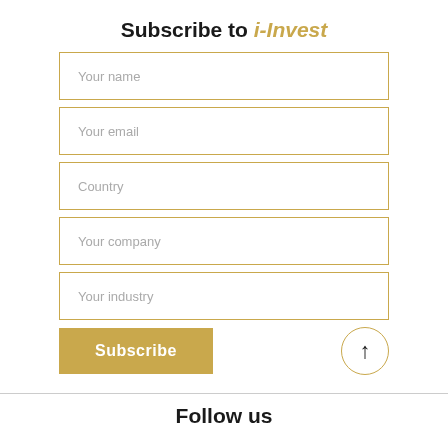Subscribe to i-Invest
Your name
Your email
Country
Your company
Your industry
Subscribe
Follow us